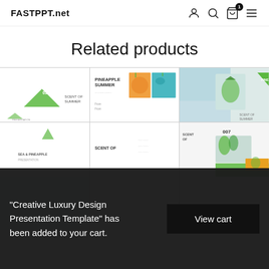FASTPPT.net
Related products
[Figure (screenshot): Grid of product thumbnail images showing PowerPoint presentation templates with pineapple/summer themes, green triangle design elements, two rows of three cells each]
"Creative Luxury Design Presentation Template" has been added to your cart.
View cart